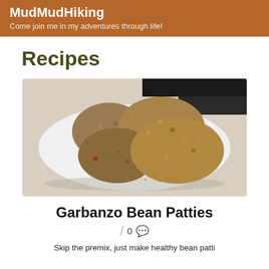MudMudHiking
Come join me in my adventures through life!
Recipes
[Figure (photo): A white plate with four round garbanzo bean patties stacked and arranged on it, photographed on a light surface with a dark background visible.]
Garbanzo Bean Patties
0 💬
Skip the premix, just make healthy bean patties